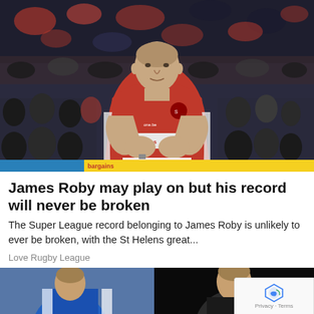[Figure (photo): Rugby league player James Roby wearing a red St Helens jersey with 'bargains' sponsor, clapping hands, with crowd in the background]
James Roby may play on but his record will never be broken
The Super League record belonging to James Roby is unlikely to ever be broken, with the St Helens great...
Love Rugby League
[Figure (photo): Bottom-left partial photo showing a rugby player in blue/white kit]
[Figure (photo): Bottom-right partial photo showing a rugby player portrait on dark background]